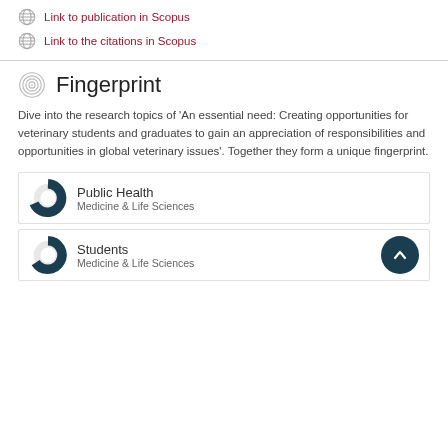Link to publication in Scopus
Link to the citations in Scopus
Fingerprint
Dive into the research topics of 'An essential need: Creating opportunities for veterinary students and graduates to gain an appreciation of responsibilities and opportunities in global veterinary issues'. Together they form a unique fingerprint.
Public Health
Medicine & Life Sciences
Students
Medicine & Life Sciences